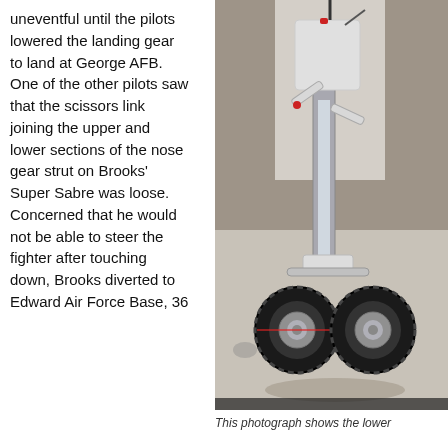uneventful until the pilots lowered the landing gear to land at George AFB. One of the other pilots saw that the scissors link joining the upper and lower sections of the nose gear strut on Brooks' Super Sabre was loose. Concerned that he would not be able to steer the fighter after touching down, Brooks diverted to Edward Air Force Base, 36
[Figure (photo): Photograph of an aircraft nose landing gear assembly showing dual tires, strut, and scissors linkage mechanism]
This photograph shows the lower